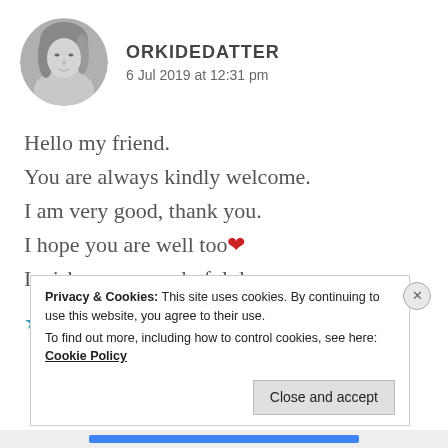[Figure (photo): Circular avatar photo of a young woman with long blonde hair, black and white photo]
ORKIDEDATTER
6 Jul 2019 at 12:31 pm
Hello my friend.
You are always kindly welcome.
I am very good, thank you.
I hope you are well too❤
I wish you a wonderful day.
★ Like
Privacy & Cookies: This site uses cookies. By continuing to use this website, you agree to their use.
To find out more, including how to control cookies, see here: Cookie Policy
Close and accept